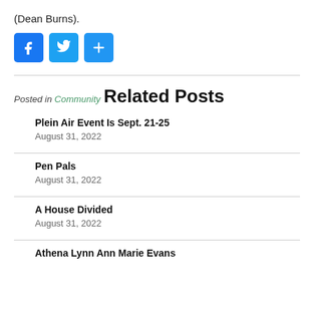(Dean Burns).
[Figure (other): Social share buttons: Facebook, Twitter, and a generic share (plus) button, all styled as blue rounded squares with white icons.]
Posted in Community
Related Posts
Plein Air Event Is Sept. 21-25
August 31, 2022
Pen Pals
August 31, 2022
A House Divided
August 31, 2022
Athena Lynn Ann Marie Evans